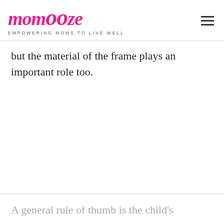momooze — EMPOWERING MOMS TO LIVE WELL
but the material of the frame plays an important role too.
A general rule of thumb is the child's